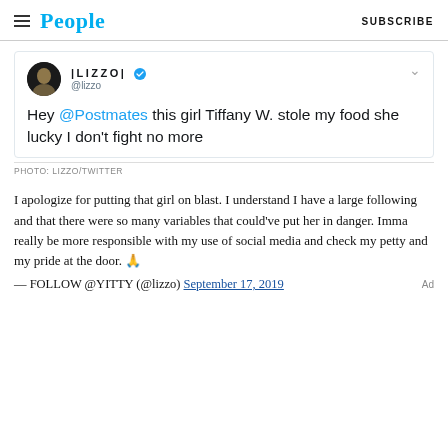People | SUBSCRIBE
[Figure (screenshot): Tweet from @lizzo with profile avatar. Display name: |LIZZO| with verified checkmark. Handle: @lizzo. Tweet text: Hey @Postmates this girl Tiffany W. stole my food she lucky I don't fight no more]
PHOTO: LIZZO/TWITTER
I apologize for putting that girl on blast. I understand I have a large following and that there were so many variables that could've put her in danger. Imma really be more responsible with my use of social media and check my petty and my pride at the door. 🙏
— FOLLOW @YITTY (@lizzo) September 17, 2019